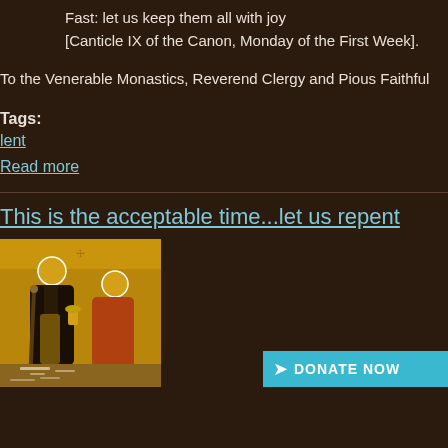Fast: let us keep them all with joy
[Canticle IX of the Canon, Monday of the First Week].
To the Venerable Monastics, Reverend Clergy and Pious Faithful
Tags:
lent
Read more
This is the acceptable time...let us repent
[Figure (illustration): Orthodox icon depicting two figures - an elder monk with a staff and halo offering a chalice to a bowing figure with a halo, set against a golden background]
DONATE NOW